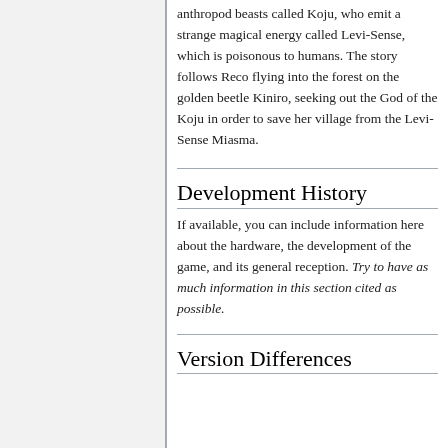anthropod beasts called Koju, who emit a strange magical energy called Levi-Sense, which is poisonous to humans. The story follows Reco flying into the forest on the golden beetle Kiniro, seeking out the God of the Koju in order to save her village from the Levi-Sense Miasma.
Development History
If available, you can include information here about the hardware, the development of the game, and its general reception. Try to have as much information in this section cited as possible.
Version Differences